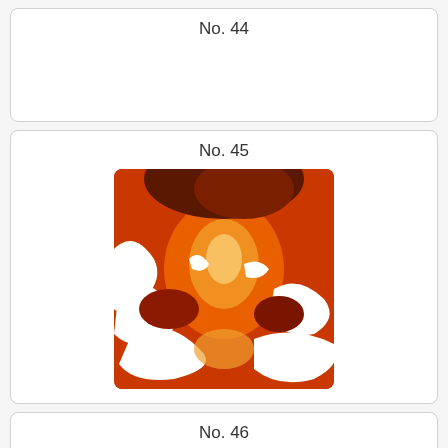No. 44
No. 45
[Figure (photo): Close-up abstract photo with red/orange tones, showing a human figure with white silhouette cutout shapes overlaid, creating a dramatic contrast effect.]
No. 46
No. 47